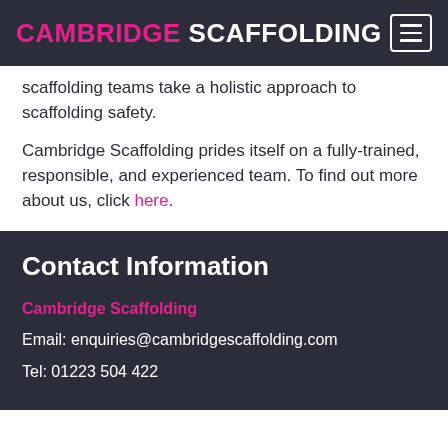CAMBRIDGE SCAFFOLDING
scaffolding teams take a holistic approach to scaffolding safety.
Cambridge Scaffolding prides itself on a fully-trained, responsible, and experienced team. To find out more about us, click here.
Contact Information
Cambridge Scaffolding
Email: enquiries@cambridgescaffolding.com
Tel: 01223 504 422